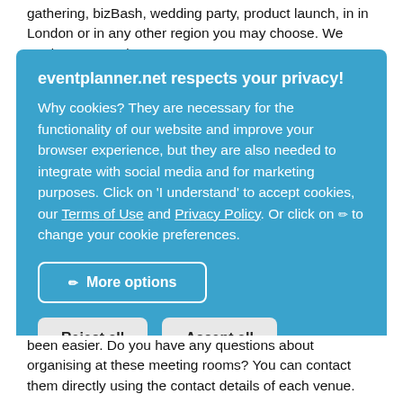gathering, bizBash, wedding party, product launch, in in London or in any other region you may choose. We made an up-to-date
[Figure (screenshot): Cookie consent overlay on eventplanner.net with blue background. Title: 'eventplanner.net respects your privacy!' Body text explains cookies are necessary for website functionality, browser experience, social media integration, and marketing purposes. Includes links to Terms of Use and Privacy Policy. Three buttons: 'More options' (outlined), 'Reject all' and 'Accept all' (gray filled).]
been easier. Do you have any questions about organising at these meeting rooms? You can contact them directly using the contact details of each venue.